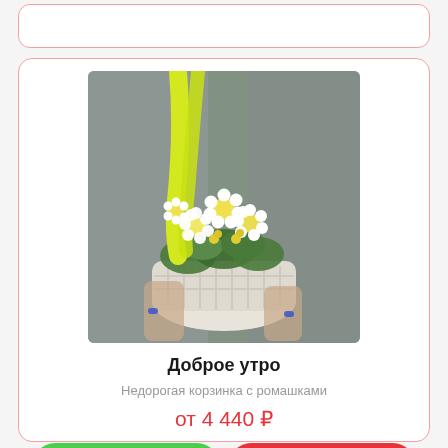[Figure (photo): A basket of white daisies and yellow flowers with bright yellow ribbons, held in hands against a blurred background.]
Доброе утро
Недорогая корзинка с ромашками
от 4 440 ₽
Заказать
в 1 клик